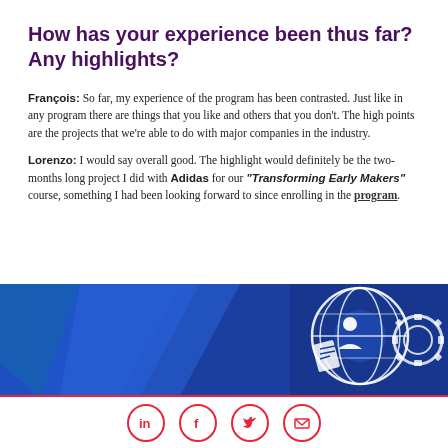How has your experience been thus far? Any highlights?
François: So far, my experience of the program has been contrasted. Just like in any program there are things that you like and others that you don't. The high points are the projects that we're able to do with major companies in the industry.
Lorenzo: I would say overall good. The highlight would definitely be the two-months long project I did with Adidas for our "Transforming Early Makers" course, something I had been looking forward to since enrolling in the program.
[Figure (illustration): Blue geometric banner with globe and gear/engineering icons in white on right side]
[Figure (infographic): Social media icons: LinkedIn, Facebook, Twitter, Email — circular red-outlined icons in a row]